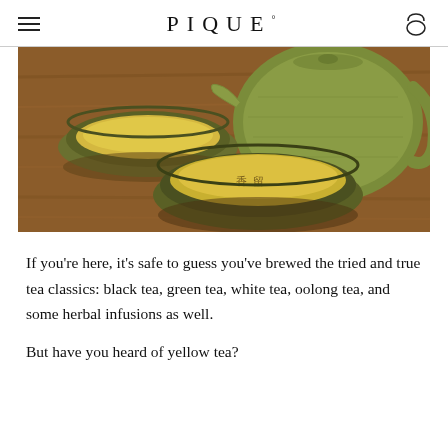PIQUE
[Figure (photo): Two ceramic tea bowls filled with golden yellow tea and a green ceramic teapot on a wooden surface. Chinese characters visible in one bowl reflection.]
If you're here, it's safe to guess you've brewed the tried and true tea classics: black tea, green tea, white tea, oolong tea, and some herbal infusions as well.
But have you heard of yellow tea?